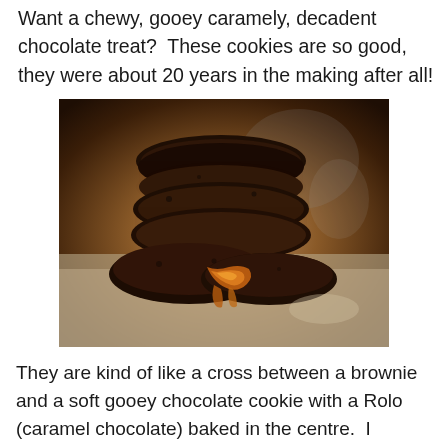Want a chewy, gooey caramely, decadent chocolate treat?  These cookies are so good, they were about 20 years in the making after all!
[Figure (photo): Stack of dark chocolate caramel-filled cookies, with one broken open showing gooey caramel centre, photographed on a stone/granite surface.]
They are kind of like a cross between a brownie and a soft gooey chocolate cookie with a Rolo (caramel chocolate) baked in the centre.  I started playing around with this cookie approximately 20 years ago, I was in university and was a nerd needed to get my mind off school work and also needed a really good study snack.  That is what all 19